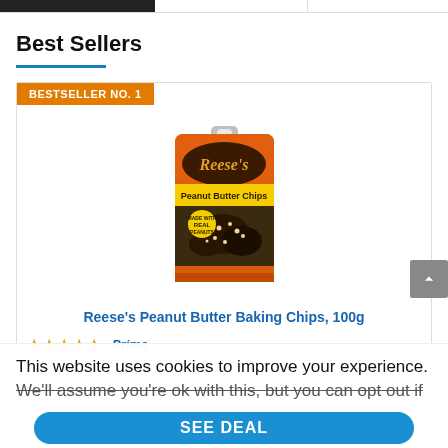Best Sellers
BESTSELLER NO. 1
[Figure (photo): Reese's Peanut Butter Chips bag - orange packaging with yellow stripe, showing cookies with peanut butter chips, 'REAL PEANUTS' badge]
Reese's Peanut Butter Baking Chips, 100g
★★★★★  Prime
This website uses cookies to improve your experience. We'll assume you're ok with this, but you can opt out if
SEE DEAL